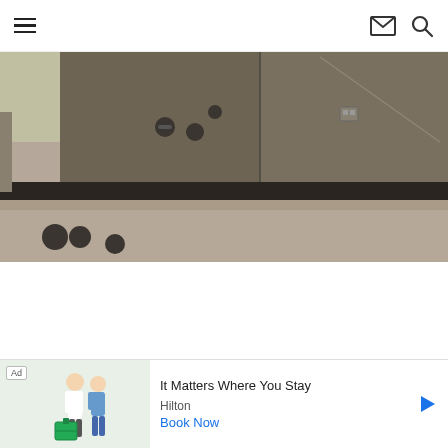Navigation menu, mail icon, search icon
[Figure (photo): Interior photo of a gym or fitness room showing dark/brown lockers or storage panels with small round handles, a mirror, dumbbells on a rack reflected in the mirror, and a dark metal bar/rail along the bottom. The image is taken at a slight angle.]
[Figure (infographic): Advertisement banner for Hilton hotel. Shows 'Ad' label, image of a couple with luggage, text 'It Matters Where You Stay', brand name 'Hilton', and 'Book Now' call-to-action button with a play arrow icon.]